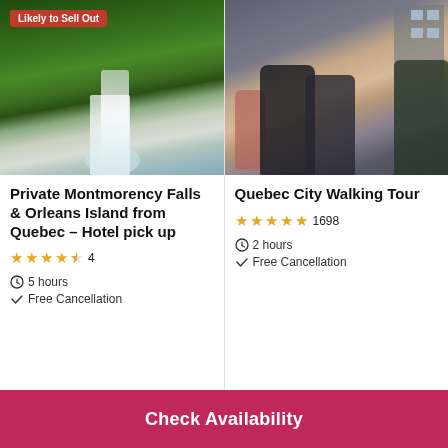[Figure (photo): Aerial photo of Montmorency Falls with cliffs and waterfall and a 'Likely to Sell Out' badge in red]
Private Montmorency Falls & Orleans Island from Quebec - Hotel pick up
★★★★½ 4
5 hours
Free Cancellation
[Figure (photo): Photo of tourists on a street in Quebec City]
Quebec City Walking Tour
★★★★★ 1698
2 hours
Free Cancellation
Check Availability